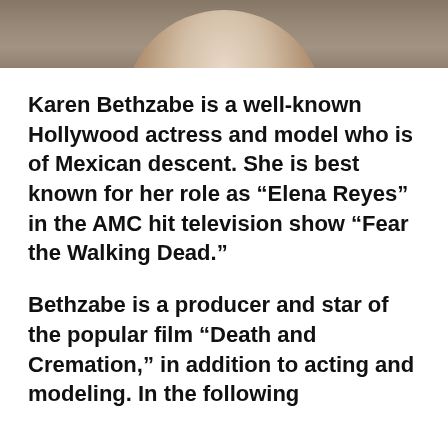[Figure (photo): Top portion of a photo showing a person, cropped at the top of the page]
Karen Bethzabe is a well-known Hollywood actress and model who is of Mexican descent. She is best known for her role as “Elena Reyes” in the AMC hit television show “Fear the Walking Dead.”
Bethzabe is a producer and star of the popular film “Death and Cremation,” in addition to acting and modeling. In the following